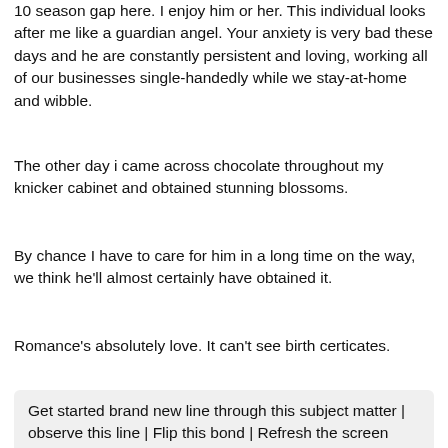10 season gap here. I enjoy him or her. This individual looks after me like a guardian angel. Your anxiety is very bad these days and he are constantly persistent and loving, working all of our businesses single-handedly while we stay-at-home and wibble.
The other day i came across chocolate throughout my knicker cabinet and obtained stunning blossoms.
By chance I have to care for him in a long time on the way, we think he'll almost certainly have obtained it.
Romance's absolutely love. It can't see birth certicates.
Get started brand new line through this subject matter | observe this line | Flip this bond | Refresh the screen